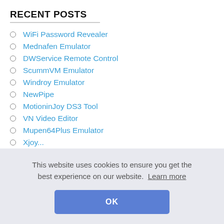RECENT POSTS
WiFi Password Revealer
Mednafen Emulator
DWService Remote Control
ScummVM Emulator
Windroy Emulator
NewPipe
MotioninJoy DS3 Tool
VN Video Editor
Mupen64Plus Emulator
This website uses cookies to ensure you get the best experience on our website. Learn more
OK